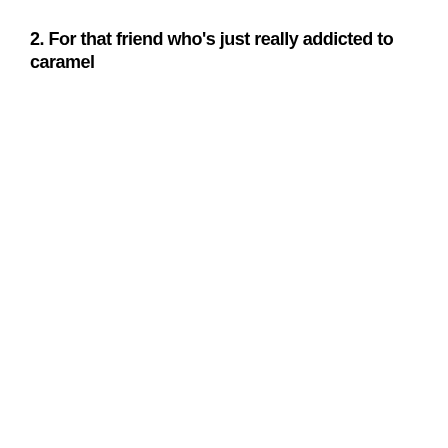2. For that friend who's just really addicted to caramel